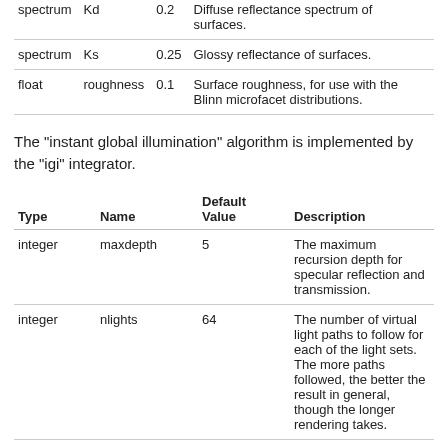| Type | Name | Default Value | Description |
| --- | --- | --- | --- |
| spectrum | Kd | 0.2 | Diffuse reflectance spectrum of surfaces. |
| spectrum | Ks | 0.25 | Glossy reflectance of surfaces. |
| float | roughness | 0.1 | Surface roughness, for use with the Blinn microfacet distributions. |
The "instant global illumination" algorithm is implemented by the "igi" integrator.
| Type | Name | Default Value | Description |
| --- | --- | --- | --- |
| integer | maxdepth | 5 | The maximum recursion depth for specular reflection and transmission. |
| integer | nlights | 64 | The number of virtual light paths to follow for each of the light sets. The more paths followed, the better the result in general, though the longer rendering takes. |